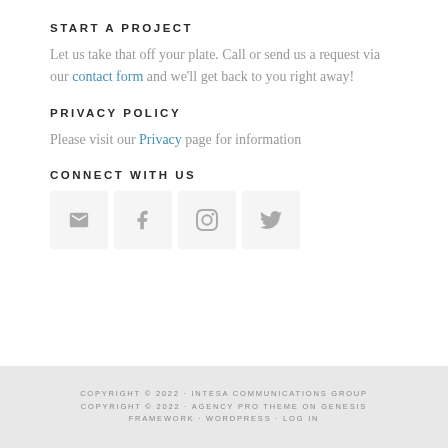START A PROJECT
Let us take that off your plate. Call or send us a request via our contact form and we'll get back to you right away!
PRIVACY POLICY
Please visit our Privacy page for information
CONNECT WITH US
[Figure (infographic): Four social media icon boxes: email envelope, Facebook f, Instagram camera, Twitter bird]
COPYRIGHT © 2022 · INTESA COMMUNICATIONS GROUP COPYRIGHT © 2022 · AGENCY PRO THEME ON GENESIS FRAMEWORK · WORDPRESS · LOG IN